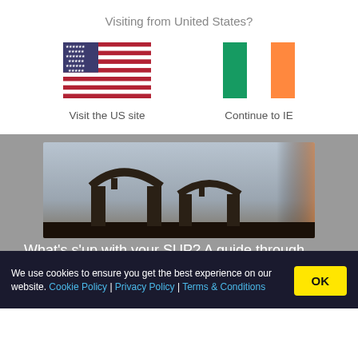Visiting from United States?
[Figure (illustration): US flag icon]
Visit the US site
[Figure (illustration): Irish flag icon]
Continue to IE
[Figure (photo): Outdoor photo showing silhouettes of arched stone bridge structure against a sky at sunset]
What's s'up with your SUP? A guide through
We use cookies to ensure you get the best experience on our website. Cookie Policy | Privacy Policy | Terms & Conditions